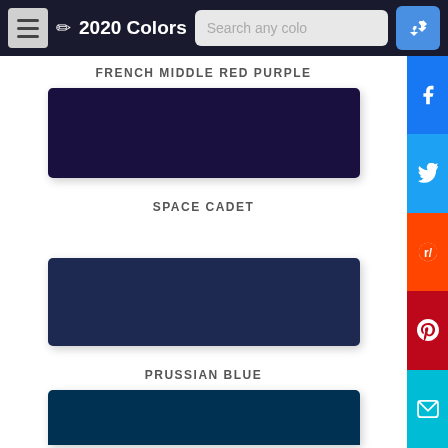2020 Colors
FRENCH MIDDLE RED PURPLE
[Figure (other): Dark navy-purple color swatch]
SPACE CADET
[Figure (other): Dark navy blue color swatch for Space Cadet]
PRUSSIAN BLUE
[Figure (other): Dark blue Prussian Blue color swatch (partially visible)]